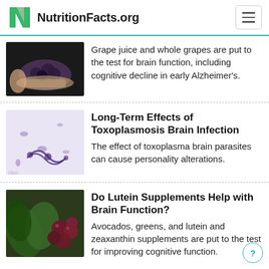NutritionFacts.org
Grape juice and whole grapes are put to the test for brain function, including cognitive decline in early Alzheimer's.
Long-Term Effects of Toxoplasmosis Brain Infection
The effect of toxoplasma brain parasites can cause personality alterations.
Do Lutein Supplements Help with Brain Function?
Avocados, greens, and lutein and zeaxanthin supplements are put to the test for improving cognitive function.